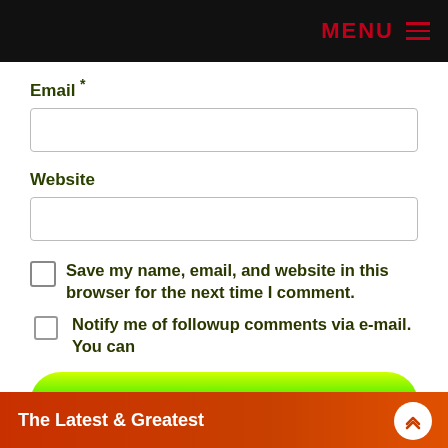MENU
Email *
Website
Save my name, email, and website in this browser for the next time I comment.
Notify me of followup comments via e-mail. You can
Post Comment
The Latest & Greatest